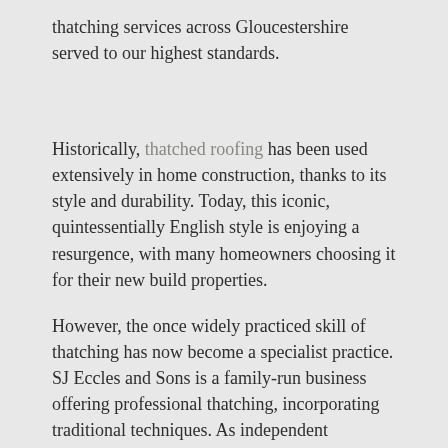thatching services across Gloucestershire served to our highest standards.
Historically, thatched roofing has been used extensively in home construction, thanks to its style and durability. Today, this iconic, quintessentially English style is enjoying a resurgence, with many homeowners choosing it for their new build properties.
However, the once widely practiced skill of thatching has now become a specialist practice. SJ Eccles and Sons is a family-run business offering professional thatching, incorporating traditional techniques. As independent contractors, we pride ourselves on offering a friendly, personal service with the very best in workmanship and